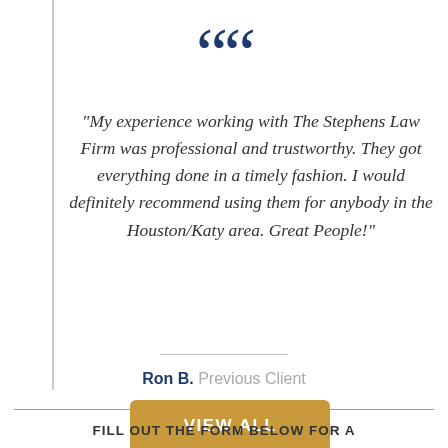[Figure (illustration): Large dark blue opening double quotation mark decorative symbol]
"My experience working with The Stephens Law Firm was professional and trustworthy. They got everything done in a timely fashion. I would definitely recommend using them for anybody in the Houston/Katy area. Great People!"
Ron B.  Previous Client
VIEW ALL
FILL OUT THE FORM BELOW FOR A